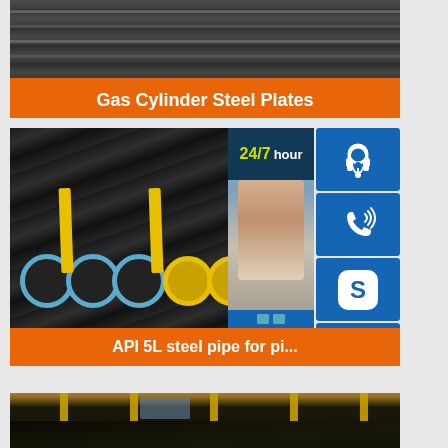[Figure (photo): Gas cylinder steel plates product card with orange label]
Gas Cylinder Steel Plates
[Figure (photo): API 5L steel pipe for pipeline product card with customer service overlay showing 24/7 hour support, headset icon, phone icon, Skype icon, and Click to chat button]
API 5L steel pipe for pi...
[Figure (photo): Large spiral welded steel pipes stacked in a yard with yellow poles]